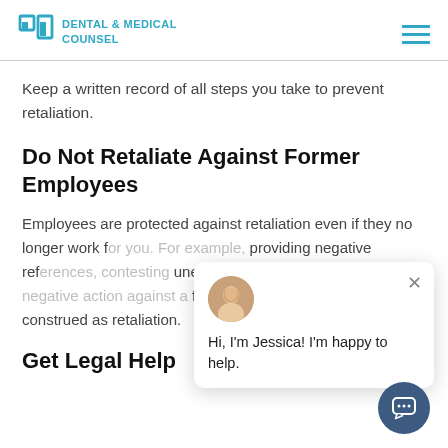Dental & Medical Counsel
Keep a written record of all steps you take to prevent retaliation.
Do Not Retaliate Against Former Employees
Employees are protected against retaliation even if they no longer work for you. For example, providing negative references, contesting unemployment claims, or any negative action against a former employee could be construed as retaliation.
Get Legal Help
[Figure (other): Chat popup with avatar of Jessica and text: Hi, I'm Jessica! I'm happy to help. With a close button and a chat icon button.]